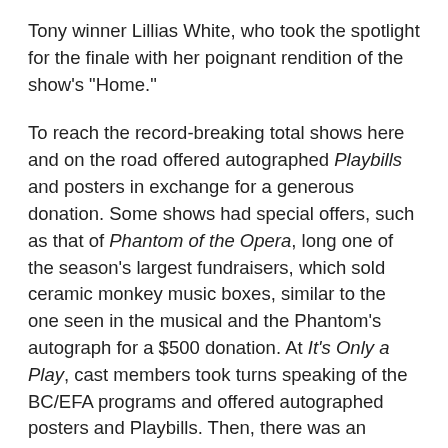Tony winner Lillias White, who took the spotlight for the finale with her poignant rendition of the show's "Home."
To reach the record-breaking total shows here and on the road offered autographed Playbills and posters in exchange for a generous donation. Some shows had special offers, such as that of Phantom of the Opera, long one of the season's largest fundraisers, which sold ceramic monkey music boxes, similar to the one seen in the musical and the Phantom's autograph for a $500 donation. At It's Only a Play, cast members took turns speaking of the BC/EFA programs and offered autographed posters and Playbills. Then, there was an auction for a selfie with the entire cast onstage in costume. Bids averaged $1,500.
No one topped the crafty showmanship and